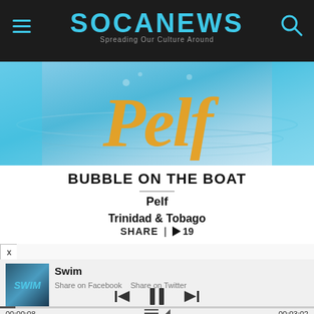SOCANEWS — Spreading Our Culture Around
[Figure (illustration): Album art with stylized text 'Pelf' in gold/orange italic lettering over blue water background]
BUBBLE ON THE BOAT
Pelf
Trinidad & Tobago
SHARE | ▶ 19
[Figure (screenshot): Music player widget showing 'Swim' track with album art, Share on Facebook and Share on Twitter links, playback controls (previous, pause, next), progress bar showing 00:00:08 of 00:03:02]
Swim
Share on Facebook   Share on Twitter
00:00:08
00:03:02